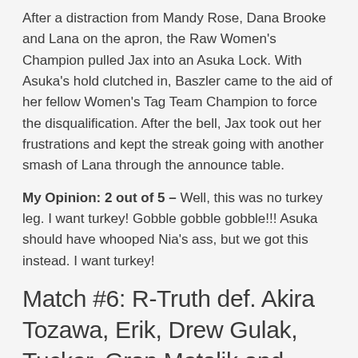After a distraction from Mandy Rose, Dana Brooke and Lana on the apron, the Raw Women's Champion pulled Jax into an Asuka Lock. With Asuka's hold clutched in, Baszler came to the aid of her fellow Women's Tag Team Champion to force the disqualification. After the bell, Jax took out her frustrations and kept the streak going with another smash of Lana through the announce table.
My Opinion: 2 out of 5 – Well, this was no turkey leg. I want turkey! Gobble gobble gobble!!! Asuka should have whooped Nia's ass, but we got this instead. I want turkey!
Match #6: R-Truth def. Akira Tozawa, Erik, Drew Gulak, Tucker, Gran Metalik and Lince Dorado – 7-Way Match For The 24/7 Title
The following is courtesy of wwe.com: